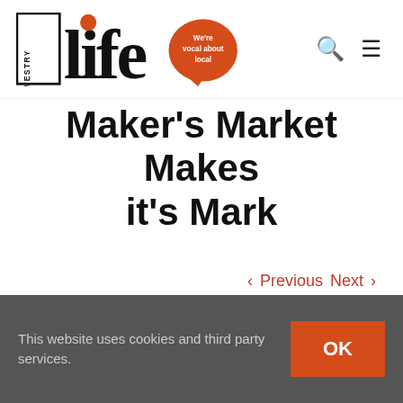[Figure (logo): Oswestry Life logo — bold serif 'life' text with 'OSWESTRY' vertical on the left, orange circle dot on the 'i', orange speech bubble reading 'We're vocal about local']
Maker's Market Makes it's Mark
< Previous   Next >
This website uses cookies and third party services.